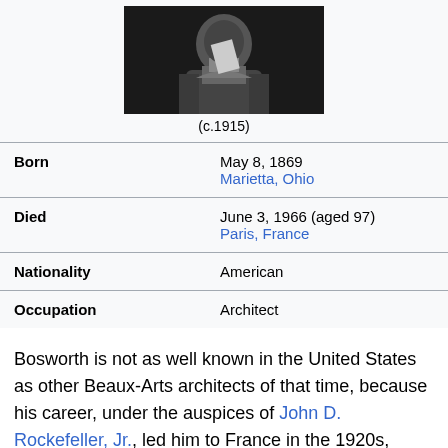[Figure (photo): Black and white photograph of a person, circa 1915]
(c.1915)
| Born | May 8, 1869
Marietta, Ohio |
| Died | June 3, 1966 (aged 97)
Paris, France |
| Nationality | American |
| Occupation | Architect |
Bosworth is not as well known in the United States as other Beaux-Arts architects of that time, because his career, under the auspices of John D. Rockefeller, Jr., led him to France in the 1920s, where he was put in charge of the restoration of the Palace of Versailles and Notre-Dame